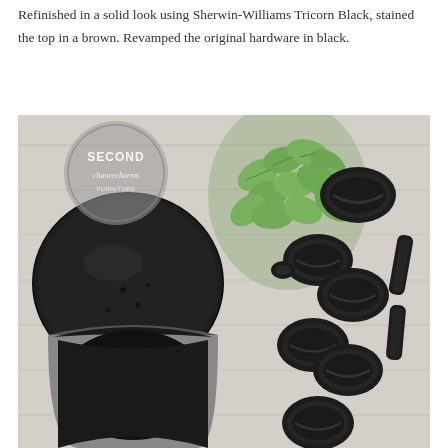Refinished in a solid look using Sherwin-Williams Tricorn Black, stained the top in a brown. Revamped the original hardware in black.
[Figure (photo): Flat lay photo on a light wood surface showing black painted furniture hardware pieces (oval bail pulls, escutcheons, and handles) laid out next to an open can of black paint and a small green eucalyptus plant. A circular watermark logo reading 'Second Chance Charms' is visible in the upper left.]